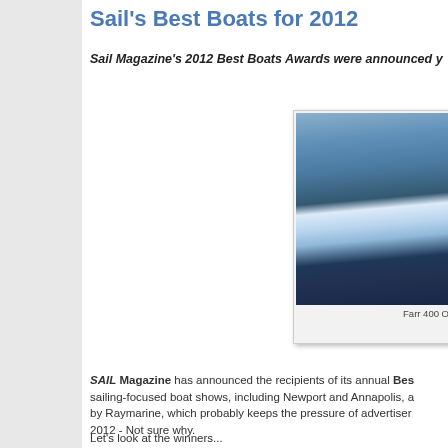Sail's Best Boats for 2012
Sail Magazine's 2012 Best Boats Awards were announced y
[Figure (photo): Sailing boat photo, Farr 400, cutting through waves with spray, blue-toned image]
Farr 400 O
SAIL Magazine has announced the recipients of its annual Bes sailing-focused boat shows, including Newport and Annapolis, a by Raymarine, which probably keeps the pressure of advertiser 2012 - Not sure why.
Let's look at the winners...
Keep reading »